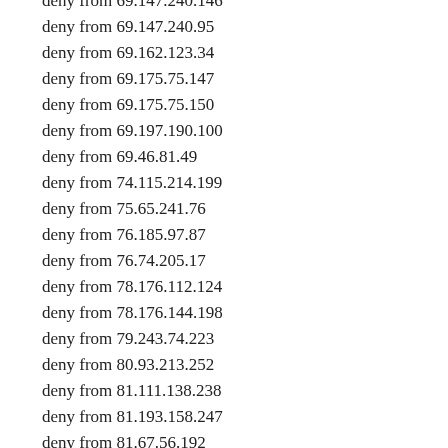deny from 69.147.240.146
deny from 69.147.240.95
deny from 69.162.123.34
deny from 69.175.75.147
deny from 69.175.75.150
deny from 69.197.190.100
deny from 69.46.81.49
deny from 74.115.214.199
deny from 75.65.241.76
deny from 76.185.97.87
deny from 76.74.205.17
deny from 78.176.112.124
deny from 78.176.144.198
deny from 79.243.74.223
deny from 80.93.213.252
deny from 81.111.138.238
deny from 81.193.158.247
deny from 81.67.56.192
deny from 82.200.254.138